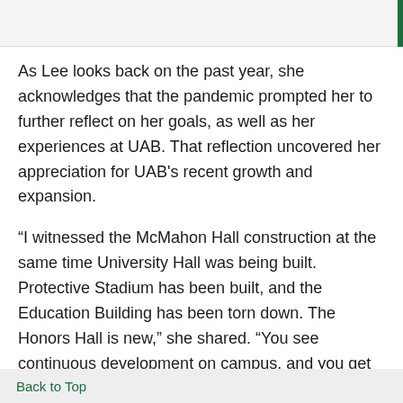As Lee looks back on the past year, she acknowledges that the pandemic prompted her to further reflect on her goals, as well as her experiences at UAB. That reflection uncovered her appreciation for UAB's recent growth and expansion.
“I witnessed the McMahon Hall construction at the same time University Hall was being built. Protective Stadium has been built, and the Education Building has been torn down. The Honors Hall is new,” she shared. “You see continuous development on campus, and you get to be a part of it. I get to utilize these new facilities. UAB is continuously growing.”
And, clearly, she will continue to be an important part of UAB’s ongoing development and global impact.
Back to Top